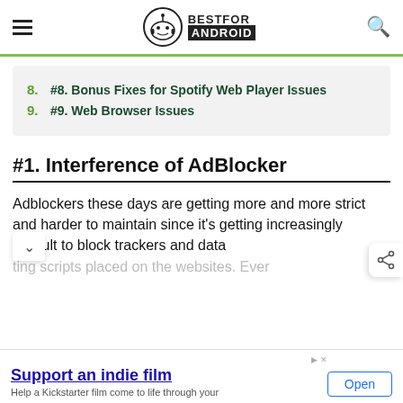BESTFOR ANDROID
#8. Bonus Fixes for Spotify Web Player Issues
#9. Web Browser Issues
#1. Interference of AdBlocker
Adblockers these days are getting more and more strict and harder to maintain since it's getting increasingly difficult to block trackers and data ting scripts placed on the websites. Ever
Support an indie film
Help a Kickstarter film come to life through your